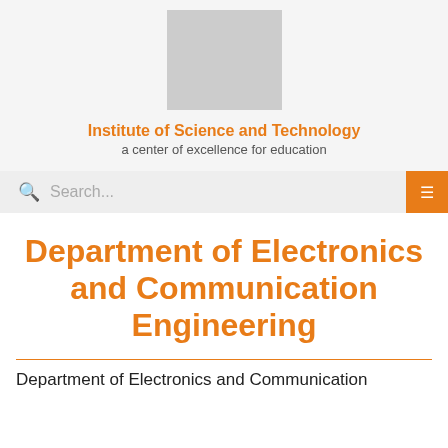[Figure (logo): Gray placeholder logo/image square for Institute of Science and Technology]
Institute of Science and Technology
a center of excellence for education
Search...
Department of Electronics and Communication Engineering
Department of Electronics and Communication